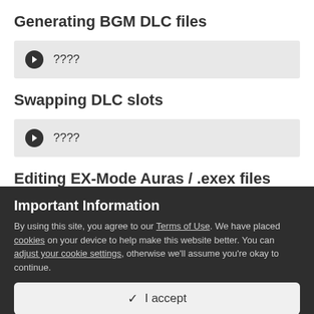Generating BGM DLC files
????
Swapping DLC slots
????
Editing EX-Mode Auras / .exex files
Important Information
By using this site, you agree to our Terms of Use. We have placed cookies on your device to help make this website better. You can adjust your cookie settings, otherwise we'll assume you're okay to continue.
✓  I accept